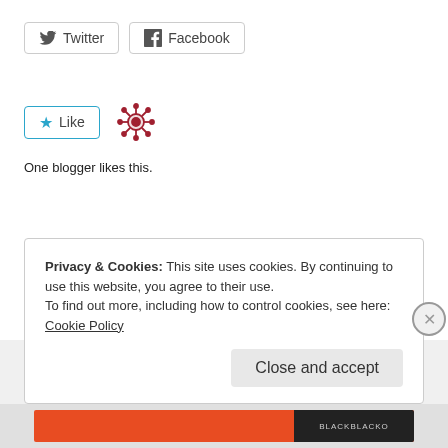[Figure (other): Twitter and Facebook share buttons]
[Figure (other): Like button with a decorative snowflake/star icon and text 'One blogger likes this.']
One blogger likes this.
Privacy & Cookies: This site uses cookies. By continuing to use this website, you agree to their use.
To find out more, including how to control cookies, see here: Cookie Policy
Close and accept